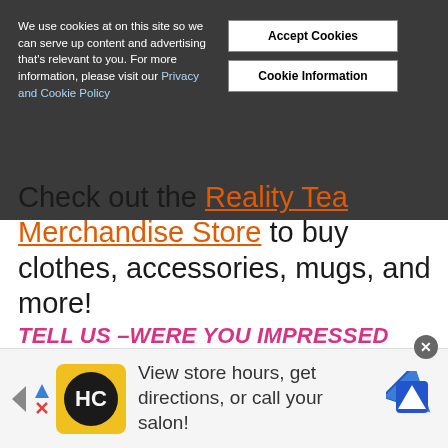We use cookies at on this site so we can serve up content and advertising that's relevant to you. For more information, please visit our Privacy and Cookie Policy
Check out the Reality Tea Merchandise Store to buy clothes, accessories, mugs, and more!
TELL US –WERE YOU IMPRESSED WITH CHEF KIKO'S 72-PLATE FEAST? WHO ARE YOU SHIPPING MORE: BUGSY AND ALEX OR ROB AND JESSICA? WILL HANNAH AND BUGS' TRUCE SURVIVE THE NEXT BELOW DECK
View store hours, get directions, or call your salon!